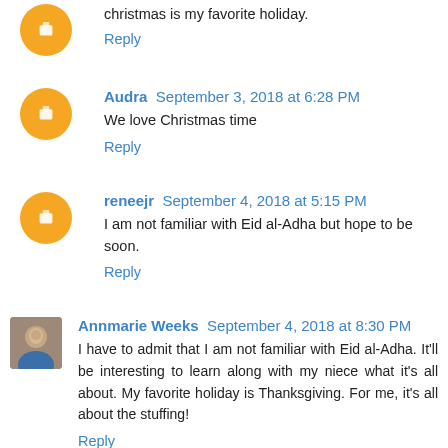christmas is my favorite holiday.
Reply
Audra  September 3, 2018 at 6:28 PM
We love Christmas time
Reply
reneejr  September 4, 2018 at 5:15 PM
I am not familiar with Eid al-Adha but hope to be soon.
Reply
Annmarie Weeks  September 4, 2018 at 8:30 PM
I have to admit that I am not familiar with Eid al-Adha. It'll be interesting to learn along with my niece what it's all about. My favorite holiday is Thanksgiving. For me, it's all about the stuffing!
Reply